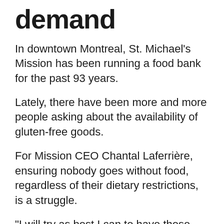demand
In downtown Montreal, St. Michael's Mission has been running a food bank for the past 93 years.
Lately, there have been more and more people asking about the availability of gluten-free goods.
For Mission CEO Chantal Laferrière, ensuring nobody goes without food, regardless of their dietary restrictions, is a struggle.
“I will try as best I can to have those types of food available for the people who do have special needs but it’s almost impossible,” she said.